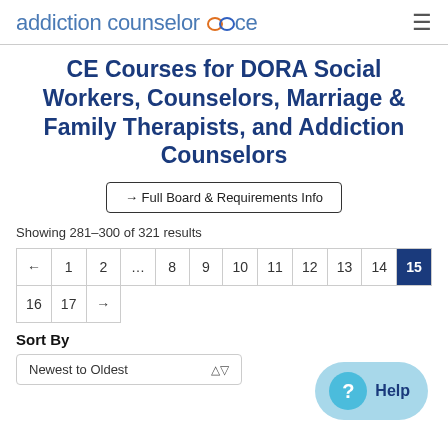addiction counselor ce
CE Courses for DORA Social Workers, Counselors, Marriage & Family Therapists, and Addiction Counselors
→ Full Board & Requirements Info
Showing 281–300 of 321 results
Pagination: ← 1 2 … 8 9 10 11 12 13 14 [15] 16 17 →
Sort By
Newest to Oldest